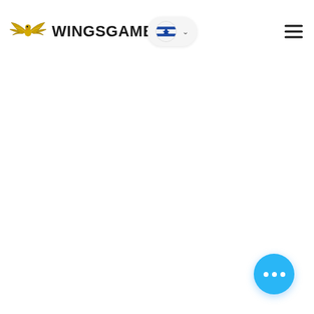[Figure (logo): WingsGames logo: golden eagle wings icon with text WINGSGAMES in bold black, plus Israeli flag language selector pill and hamburger menu icon in header]
[Figure (other): Bright blue circular chat/more options button with three white dots, positioned bottom-right corner]